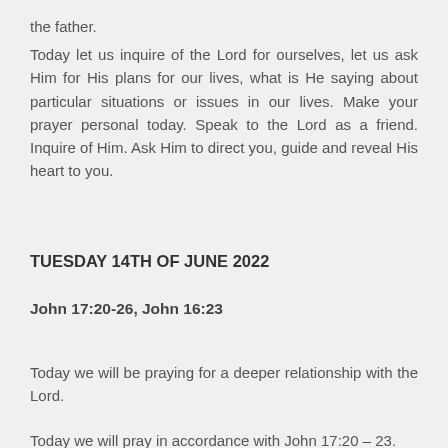the father.
Today let us inquire of the Lord for ourselves, let us ask Him for His plans for our lives, what is He saying about particular situations or issues in our lives. Make your prayer personal today. Speak to the Lord as a friend. Inquire of Him. Ask Him to direct you, guide and reveal His heart to you.
TUESDAY 14TH OF JUNE 2022
John 17:20-26, John 16:23
Today we will be praying for a deeper relationship with the Lord.
Today we will pray in accordance with John 17:20 – 23.